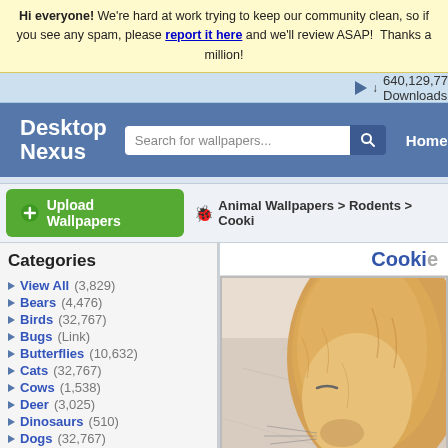Hi everyone! We're hard at work trying to keep our community clean, so if you see any spam, please report it here and we'll review ASAP! Thanks a million!
640,129,772 Downloads   1,696,349 Wa...
[Figure (screenshot): Desktop Nexus logo with white square robot icon and site name]
Search for wallpapers...
Home
Upload Wallpapers
Animal Wallpapers > Rodents > Cooki...
Categories
View All (3,829)
Bears (4,476)
Birds (32,767)
Bugs (Link)
Butterflies (10,632)
Cats (32,767)
Cows (1,538)
Deer (3,025)
Dinosaurs (510)
Dogs (32,767)
Dolphins (1,203)
Ducks (1,526)
Elephants (1,302)
Fish (3,162)
Frogs (5,708)
Cooki...
[Figure (photo): Close-up photo of a fluffy golden/tan hamster or rodent face, eyes closed, on a light marble-like surface with a golden object at bottom]